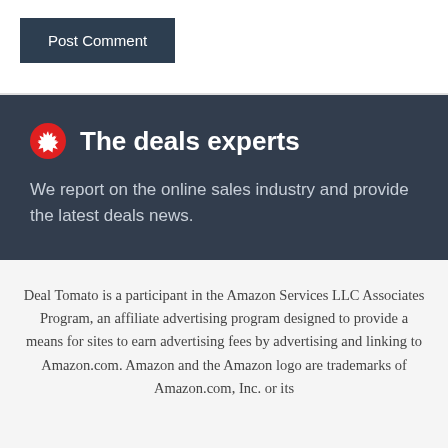[Figure (other): Post Comment button — dark navy blue rectangular button with white text]
[Figure (other): Dark banner section with Yelp-style red circular logo icon, bold white title 'The deals experts', and gray subtitle text]
Deal Tomato is a participant in the Amazon Services LLC Associates Program, an affiliate advertising program designed to provide a means for sites to earn advertising fees by advertising and linking to Amazon.com. Amazon and the Amazon logo are trademarks of Amazon.com, Inc. or its